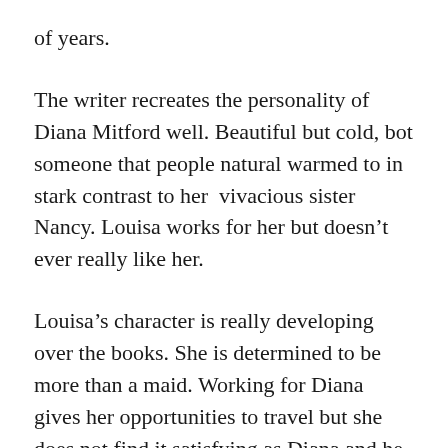of years.
The writer recreates the personality of Diana Mitford well. Beautiful but cold, bot someone that people natural warmed to in stark contrast to her  vivacious sister Nancy. Louisa works for her but doesn’t ever really like her.
Louisa’s character is really developing over the books. She is determined to be more than a maid. Working for Diana gives her opportunities to travel but she does not find it satisfying as Diana and he friends are spoiled and often dismissive of their staff.